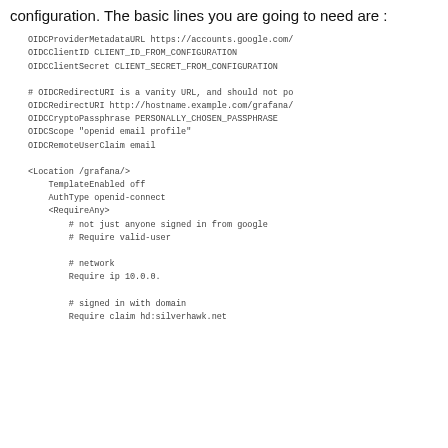configuration.  The basic lines you are going to need are :
OIDCProviderMetadataURL https://accounts.google.com/
OIDCClientID CLIENT_ID_FROM_CONFIGURATION
OIDCClientSecret CLIENT_SECRET_FROM_CONFIGURATION

# OIDCRedirectURI is a vanity URL, and should not po
OIDCRedirectURI http://hostname.example.com/grafana/
OIDCCryptoPassphrase PERSONALLY_CHOSEN_PASSPHRASE
OIDCScope "openid email profile"
OIDCRemoteUserClaim email

<Location /grafana/>
    TemplateEnabled off
    AuthType openid-connect
    <RequireAny>
        # not just anyone signed in from google
        # Require valid-user

        # network
        Require ip 10.0.0.

        # signed in with domain
        Require claim hd:silverhawk.net